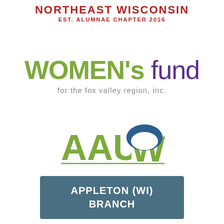NORTHEAST WISCONSIN
EST. ALUMNAE CHAPTER 2016
[Figure (logo): Women's Fund for the fox valley region, inc. logo with green bold text 'WOMEN'S' and purple light text 'fund', subtitle in gray 'for the fox valley region, inc.']
[Figure (logo): AAUW logo with green 'AAU' letters and blue 'W' letter with arch design]
APPLETON (WI)
BRANCH